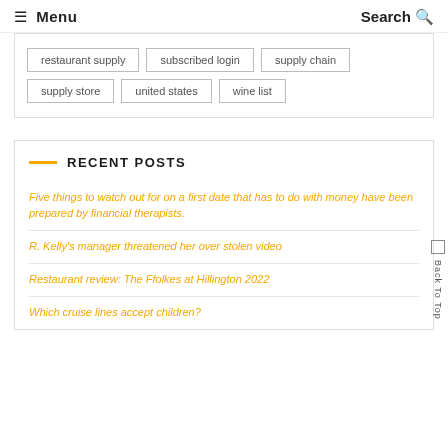☰ Menu   Search 🔍
restaurant supply
subscribed login
supply chain
supply store
united states
wine list
RECENT POSTS
Five things to watch out for on a first date that has to do with money have been prepared by financial therapists.
R. Kelly's manager threatened her over stolen video
Restaurant review: The Ffolkes at Hillington 2022
Which cruise lines accept children?